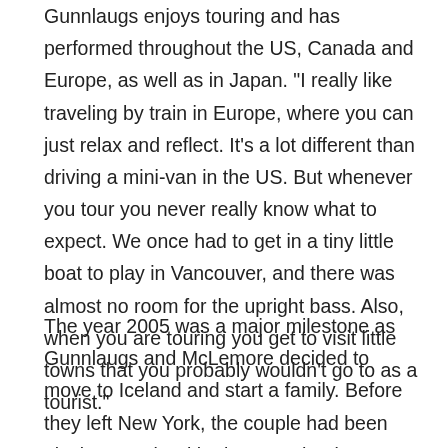Gunnlaugs enjoys touring and has performed throughout the US, Canada and Europe, as well as in Japan. "I really like traveling by train in Europe, where you can just relax and reflect. It's a lot different than driving a mini-van in the US. But whenever you tour you never really know what to expect. We once had to get in a tiny little boat to play in Vancouver, and there was almost no room for the upright bass. Also, when you are touring you get to visit little towns that you probably wouldn't go to as a tourist."
The year 2005 was a major milestone as Gunnlaugs and McLemore decided to move to Iceland and start a family. Before they left New York, the couple had been playing mostly with alto saxophonist Loren Stillman and